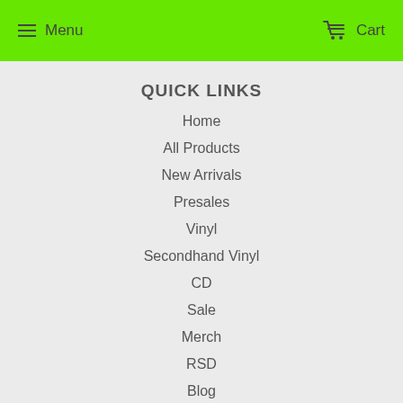Menu  Cart
QUICK LINKS
Home
All Products
New Arrivals
Presales
Vinyl
Secondhand Vinyl
CD
Sale
Merch
RSD
Blog
Contact Us
NEWSLETTER
Promotions, new products and sales. Directly to your inbox.